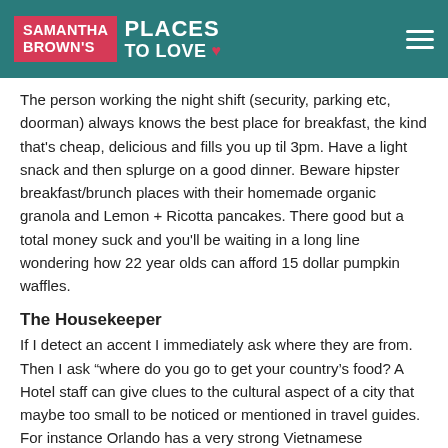SAMANTHA BROWN'S PLACES TO LOVE
The person working the night shift (security, parking etc, doorman) always knows the best place for breakfast, the kind that's cheap, delicious and fills you up til 3pm. Have a light snack and then splurge on a good dinner. Beware hipster breakfast/brunch places with their homemade organic granola and Lemon + Ricotta pancakes. There good but a total money suck and you'll be waiting in a long line wondering how 22 year olds can afford 15 dollar pumpkin waffles.
The Housekeeper
If I detect an accent I immediately ask where they are from. Then I ask “where do you go to get your country’s food? A Hotel staff can give clues to the cultural aspect of a city that maybe too small to be noticed or mentioned in travel guides. For instance Orlando has a very strong Vietnamese population and therefore they’ve got some pretty good Vietnamese restaurants. Also where the hotel staff eats is